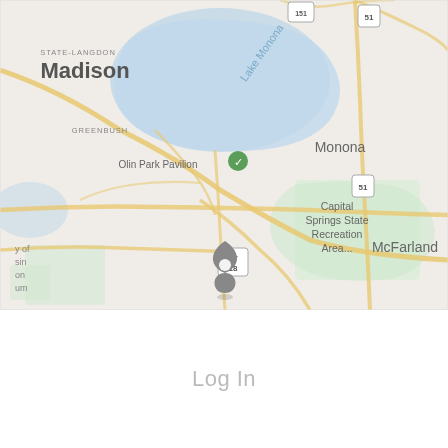[Figure (map): Google Maps screenshot showing Madison, Wisconsin area including Lake Monona, Monona, Olin Park Pavilion, Capital Springs State Recreation Area, McFarland, and a location pin near the lake. Roads including US-51 and ALT-18 are visible.]
Log In